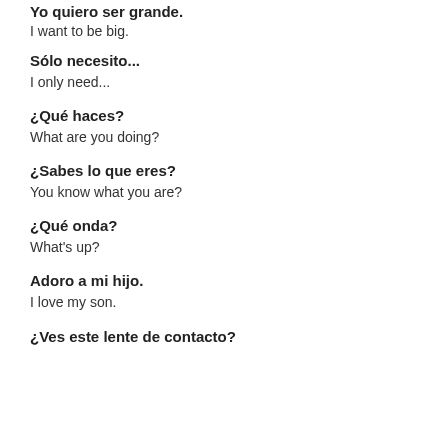Yo quiero ser grande.
I want to be big.
Sólo necesito...
I only need...
¿Qué haces?
What are you doing?
¿Sabes lo que eres?
You know what you are?
¿Qué onda?
What's up?
Adoro a mi hijo.
I love my son.
¿Ves este lente de contacto?